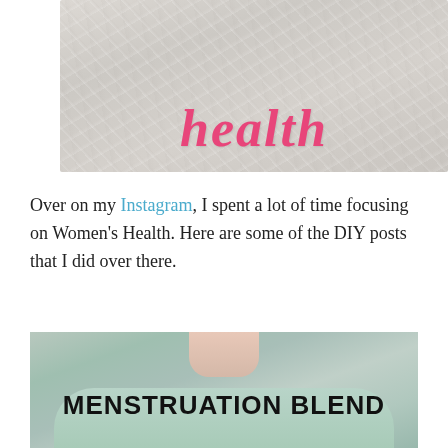[Figure (photo): Crumpled paper background with pink italic cursive text partially visible reading 'health' or similar word in pink script]
Over on my Instagram, I spent a lot of time focusing on Women's Health. Here are some of the DIY posts that I did over there.
[Figure (photo): Woman in mint green shirt holding something, with bold black text overlay reading 'MENSTRUATION BLEND']